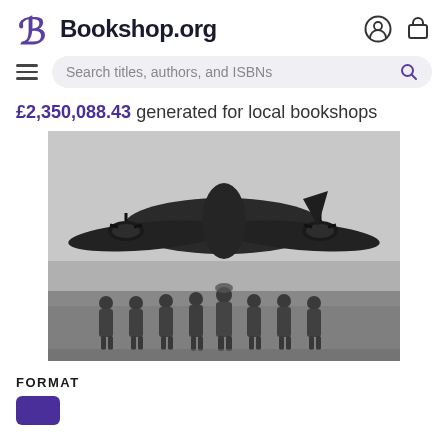Bookshop.org
Search titles, authors, and ISBNs
£2,350,088.43 generated for local bookshops
[Figure (photo): Black and white photograph of a WWII-era bomber aircraft (likely a Lancaster or similar) with eight crew members standing in front of it on an airfield tarmac.]
FORMAT